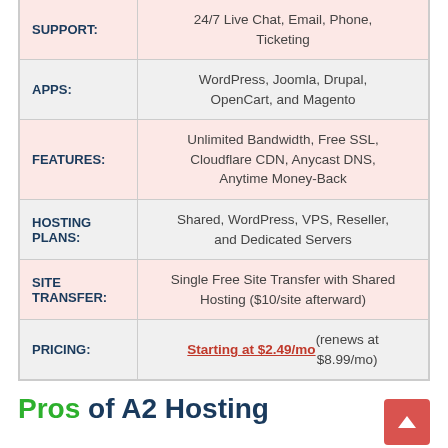| Feature | Details |
| --- | --- |
| SUPPORT: | 24/7 Live Chat, Email, Phone, Ticketing |
| APPS: | WordPress, Joomla, Drupal, OpenCart, and Magento |
| FEATURES: | Unlimited Bandwidth, Free SSL, Cloudflare CDN, Anycast DNS, Anytime Money-Back |
| HOSTING PLANS: | Shared, WordPress, VPS, Reseller, and Dedicated Servers |
| SITE TRANSFER: | Single Free Site Transfer with Shared Hosting ($10/site afterward) |
| PRICING: | Starting at $2.49/mo (renews at $8.99/mo) |
Pros of A2 Hosting
A2 Hosting is one of the most reliable hosting...